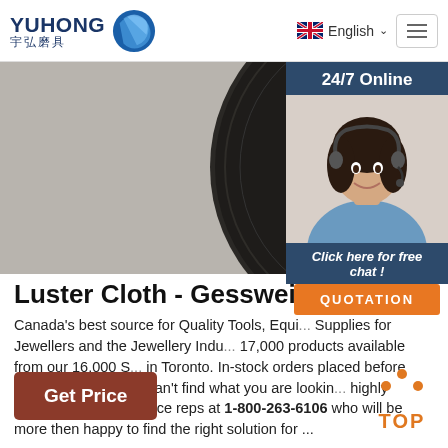[Figure (logo): Yuhong 宇弘磨具 company logo with blue wave icon]
[Figure (screenshot): Navigation bar with English language selector and hamburger menu button]
[Figure (photo): Dark grey grinding/cutting disc with text '60-30035' visible]
[Figure (photo): 24/7 Online customer service chat widget with female agent wearing headset, Click here for free chat, and QUOTATION button]
Luster Cloth - Gesswein Canada
Canada's best source for Quality Tools, Equipment and Supplies for Jewellers and the Jewellery Industry. Over 17,000 products available from our 16,000 Sq. Ft. facility in Toronto. In-stock orders placed before 3:30 pm ship the same day. Can't find what you are looking for? Call our highly trained customer service reps at 1-800-263-6106 who will be more then happy to find the right solution for ...
[Figure (other): Get Price button (brown/rust colored)]
[Figure (other): TOP scroll-to-top button with orange dots arrow icon]